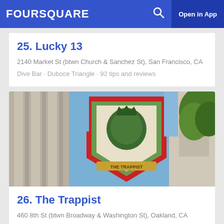FOURSQUARE  Open in App
25. Lucky 13
2140 Market St (btwn Church & Sanchez St), San Francisco, CA
Dive Bar · Duboce Triangle · 92 tips and reviews
[Figure (photo): Exterior photo showing a decorative heraldic shield pub sign with green and red design, mounted on a building, with blue sky and trees visible in background]
26. The Trappist
460 8th St (btwn Broadway & Washington St), Oakland, CA
Beer Bar · Old Oakland · 129 tips and reviews